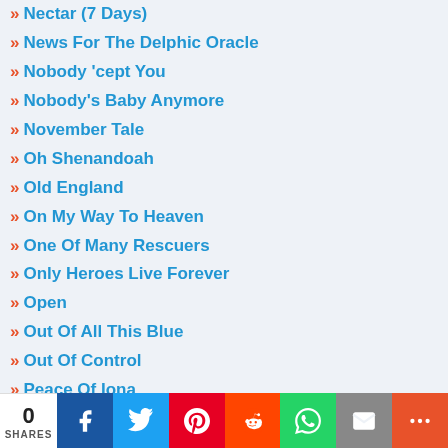» Nectar (7 Days)
» News For The Delphic Oracle
» Nobody 'cept You
» Nobody's Baby Anymore
» November Tale
» Oh Shenandoah
» Old England
» On My Way To Heaven
» One Of Many Rescuers
» Only Heroes Live Forever
» Open
» Out Of All This Blue
» Out Of Control
» Peace Of Iona
» Personal
» Politics
» Postcard From The Celtic Dreamtime
0 SHARES | Facebook | Twitter | Pinterest | Reddit | WhatsApp | Email | More